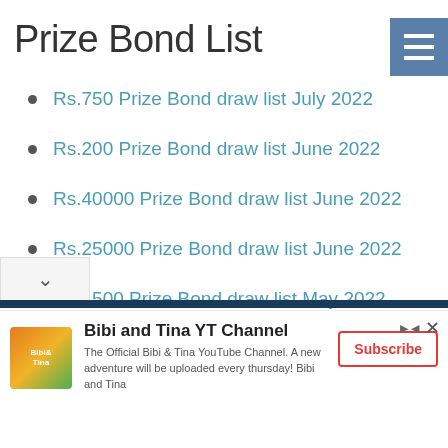Prize Bond List
Rs.750 Prize Bond draw list July 2022
Rs.200 Prize Bond draw list June 2022
Rs.40000 Prize Bond draw list June 2022
Rs.25000 Prize Bond draw list June 2022
Rs.1500 Prize Bond draw list May 2022
Rs.100 Prize Bond draw list May 2022
Bibi and Tina YT Channel — The Official Bibi & Tina YouTube Channel. A new adventure will be uploaded every thursday! Bibi and Tina — Subscribe